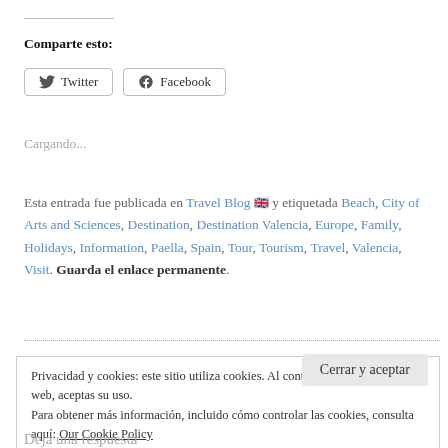Comparte esto:
Twitter  Facebook
Cargando...
Esta entrada fue publicada en Travel Blog 🇬🇧 y etiquetada Beach, City of Arts and Sciences, Destination, Destination Valencia, Europe, Family, Holidays, Information, Paella, Spain, Tour, Tourism, Travel, Valencia, Visit. Guarda el enlace permanente.
Privacidad y cookies: este sitio utiliza cookies. Al continuar utilizando esta web, aceptas su uso. Para obtener más información, incluido cómo controlar las cookies, consulta aquí: Our Cookie Policy
Cerrar y aceptar
Deja una respuesta